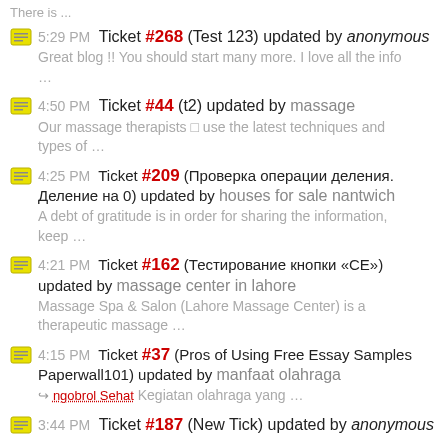5:29 PM Ticket #268 (Test 123) updated by anonymous
Great blog !! You should start many more. I love all the info …
4:50 PM Ticket #44 (t2) updated by massage
Our massage therapists □ use the latest techniques and types of …
4:25 PM Ticket #209 (Проверка операции деления. Деление на 0) updated by houses for sale nantwich
A debt of gratitude is in order for sharing the information, keep …
4:21 PM Ticket #162 (Тестирование кнопки «СЕ») updated by massage center in lahore
Massage Spa & Salon (Lahore Massage Center) is a therapeutic massage …
4:15 PM Ticket #37 (Pros of Using Free Essay Samples Paperwall101) updated by manfaat olahraga
→ ngobrol Sehat Kegiatan olahraga yang …
3:44 PM Ticket #187 (New Tick) updated by anonymous